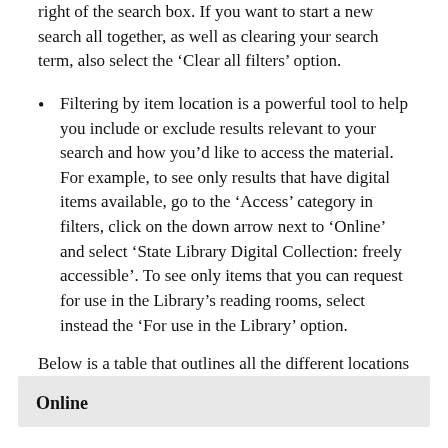right of the search box. If you want to start a new search all together, as well as clearing your search term, also select the ‘Clear all filters’ option.
Filtering by item location is a powerful tool to help you include or exclude results relevant to your search and how you’d like to access the material. For example, to see only results that have digital items available, go to the ‘Access’ category in filters, click on the down arrow next to ‘Online’ and select ‘State Library Digital Collection: freely accessible’. To see only items that you can request for use in the Library’s reading rooms, select instead the ‘For use in the Library’ option.
Below is a table that outlines all the different locations found under the ‘Access’ filter and what they mean.
| Online |
| --- |